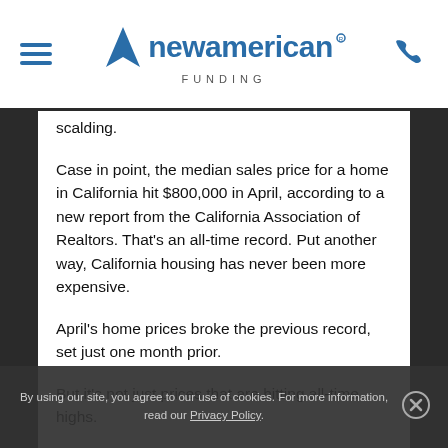New American Funding
scalding.
Case in point, the median sales price for a home in California hit $800,000 in April, according to a new report from the California Association of Realtors. That's an all-time record. Put another way, California housing has never been more expensive.
April's home prices broke the previous record, set just one month prior.
But it's not just prices that are hitting all-time highs.
"California continues to experience one of the hottest housing markets as homes sell at the fastest pace ever,
By using our site, you agree to our use of cookies. For more information, read our Privacy Policy.